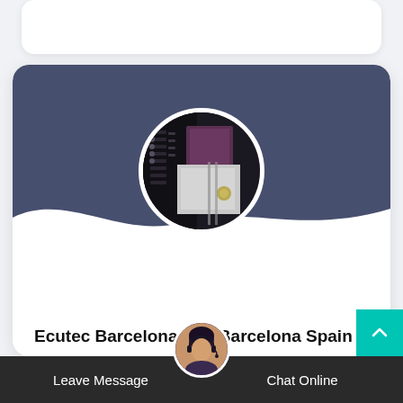[Figure (photo): Circular profile image showing industrial grinding/milling equipment with dark metal parts and white surfaces]
Ecutec Barcelona S.L. Barcelona Spain
Ecutec is a company specialized in grinding classifying and coating products to fine a ultra-fine powders. Our product line includes ba...
[Figure (photo): Chat support avatar: woman with headset in circular frame]
Leave Message    Chat Online